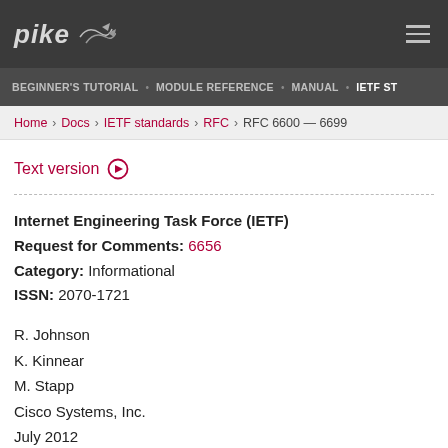[Figure (logo): Pike logo with stylized fish icon in dark top navigation bar]
BEGINNER'S TUTORIAL · MODULE REFERENCE · MANUAL · IETF ST...
Home › Docs › IETF standards › RFC › RFC 6600 — 6699
Text version ⊙
Internet Engineering Task Force (IETF)
Request for Comments: 6656
Category: Informational
ISSN: 2070-1721
R. Johnson
K. Kinnear
M. Stapp
Cisco Systems, Inc.
July 2012